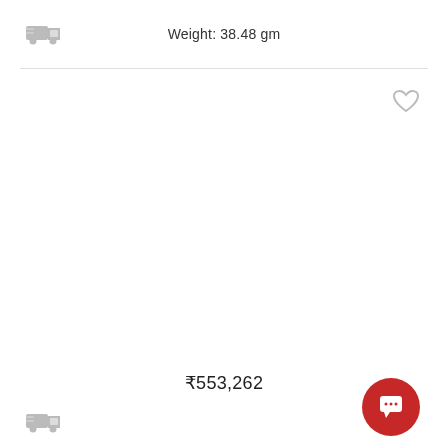[Figure (other): Delivery truck icon (grey) in top card]
Weight: 38.48 gm
[Figure (other): Heart/wishlist icon (grey outline) in top-right of bottom card]
₹553,262
[Figure (other): Delivery truck icon (grey) in bottom card]
[Figure (other): Red circular chat/support button with speech bubble icon in bottom-right corner]